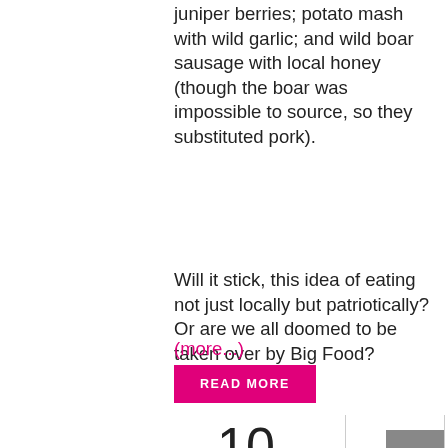juniper berries; potato mash with wild garlic; and wild boar sausage with local honey (though the boar was impossible to source, so they substituted pork).
Will it stick, this idea of eating not just locally but patriotically? Or are we all doomed to be taken over by Big Food?
(more...)
READ MORE
10
July
1
[Figure (photo): Row of portrait photos of people at bottom of page]